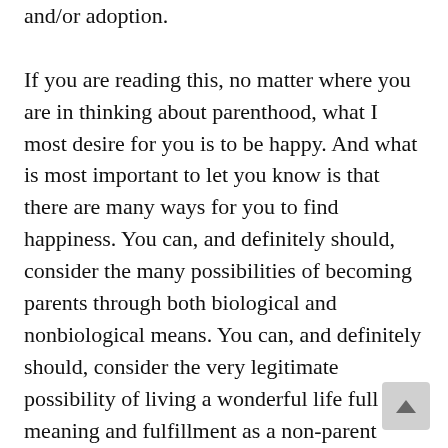and/or adoption.

If you are reading this, no matter where you are in thinking about parenthood, what I most desire for you is to be happy. And what is most important to let you know is that there are many ways for you to find happiness. You can, and definitely should, consider the many possibilities of becoming parents through both biological and nonbiological means. You can, and definitely should, consider the very legitimate possibility of living a wonderful life full of meaning and fulfillment as a non-parent (with or without children in your life in one form or another.) A lot of the suffering we undergo in life when we choose a certain path comes from the stubborn (and incorrect) belief that it is the on viable path to our destination. I don't want this you–I want to you to offer yourself more freedom,